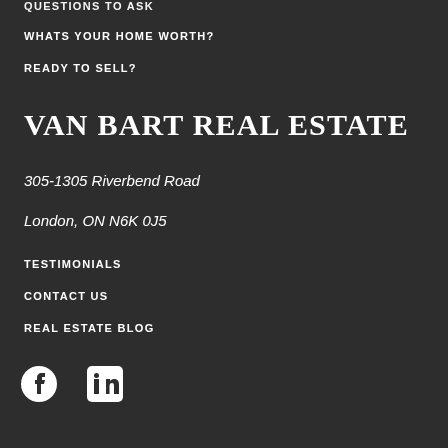QUESTIONS TO ASK
WHATS YOUR HOME WORTH?
READY TO SELL?
VAN BART REAL ESTATE
305-1305 Riverbend Road
London, ON N6K 0J5
TESTIMONIALS
CONTACT US
REAL ESTATE BLOG
[Figure (illustration): Facebook and LinkedIn social media icons]